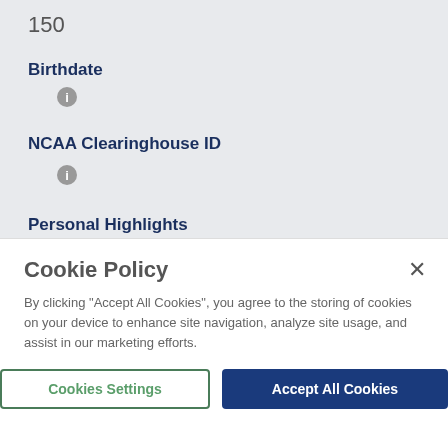150
Birthdate
[Figure (infographic): Info icon (circle with 'i') for Birthdate field]
NCAA Clearinghouse ID
[Figure (infographic): Info icon (circle with 'i') for NCAA Clearinghouse ID field]
Personal Highlights
-
Cookie Policy
By clicking "Accept All Cookies", you agree to the storing of cookies on your device to enhance site navigation, analyze site usage, and assist in our marketing efforts.
Cookies Settings
Accept All Cookies